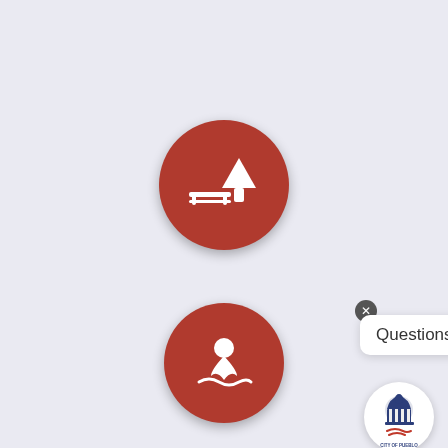[Figure (infographic): City of Pueblo government website interface showing three red circular icon buttons: a park/tree icon, a map location pin icon, and a briefcase/business icon, along with a 'Questions?' chat bubble popup and the City of Pueblo logo circle.]